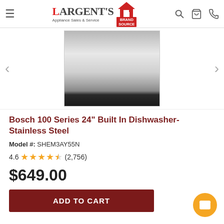[Figure (logo): Largent's Appliance Sales & Service Brand Source logo with hamburger menu and header icons (search, cart, phone)]
[Figure (photo): Bosch 100 Series 24" Built In Dishwasher in Stainless Steel, front panel view showing silver/chrome door with black bottom]
Bosch 100 Series 24" Built In Dishwasher-Stainless Steel
Model #: SHEM3AY55N
4.6 ★★★★★ (2,756)
$649.00
ADD TO CART